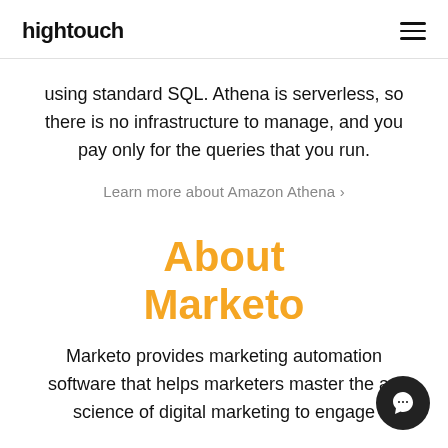hightouch
using standard SQL. Athena is serverless, so there is no infrastructure to manage, and you pay only for the queries that you run.
Learn more about Amazon Athena ›
About Marketo
Marketo provides marketing automation software that helps marketers master the art and science of digital marketing to engage…